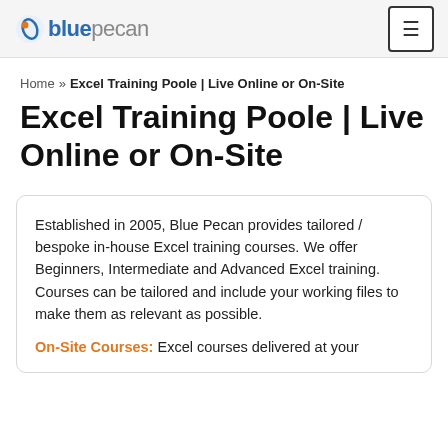blue pecan [logo] [menu button]
Home » Excel Training Poole | Live Online or On-Site
Excel Training Poole | Live Online or On-Site
Established in 2005, Blue Pecan provides tailored / bespoke in-house Excel training courses. We offer Beginners, Intermediate and Advanced Excel training. Courses can be tailored and include your working files to make them as relevant as possible.